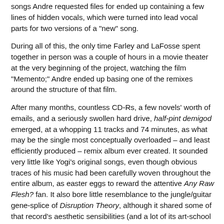songs Andre requested files for ended up containing a few lines of hidden vocals, which were turned into lead vocal parts for two versions of a "new" song.
During all of this, the only time Farley and LaFosse spent together in person was a couple of hours in a movie theater at the very beginning of the project, watching the film "Memento;" Andre ended up basing one of the remixes around the structure of that film.
After many months, countless CD-Rs, a few novels' worth of emails, and a seriously swollen hard drive, half-pint demigod emerged, at a whopping 11 tracks and 74 minutes, as what may be the single most conceptually overloaded – and least efficiently produced – remix album ever created. It sounded very little like Yogi's original songs, even though obvious traces of his music had been carefully woven throughout the entire album, as easter eggs to reward the attentive Any Raw Flesh? fan. It also bore little resemblance to the jungle/guitar gene-splice of Disruption Theory, although it shared some of that record's aesthetic sensibilities (and a lot of its art-school pretentions).